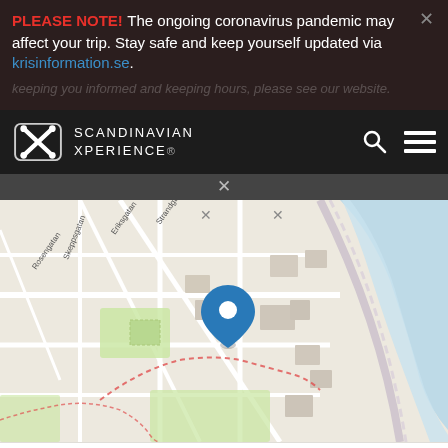PLEASE NOTE! The ongoing coronavirus pandemic may affect your trip. Stay safe and keep yourself updated via krisinformation.se.
Scandinavian Xperience
[Figure (map): OpenStreetMap showing location with a blue map pin marker near Strandgatan, Eriksgatan, Skeppsgatan, Rosengatan streets. Map shows buildings, green areas, and a body of water to the right. Leaflet / OpenStreetMap contributors attribution shown.]